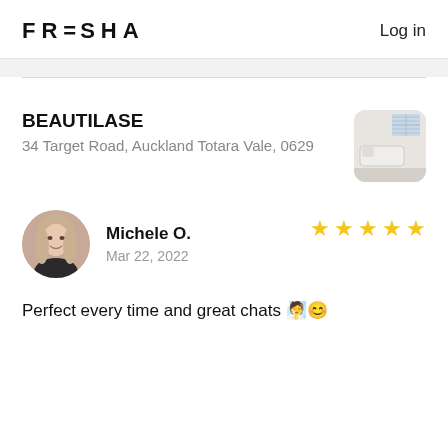FRESHA  Log in
BEAUTILASE
34 Target Road, Auckland Totara Vale, 0629
[Figure (photo): Thumbnail photo of a treatment room with a massage/beauty bed and window]
[Figure (photo): Circular avatar photo of reviewer Michele O.]
Michele O.
Mar 22, 2022
5 stars rating
Perfect every time and great chats 🧖😊